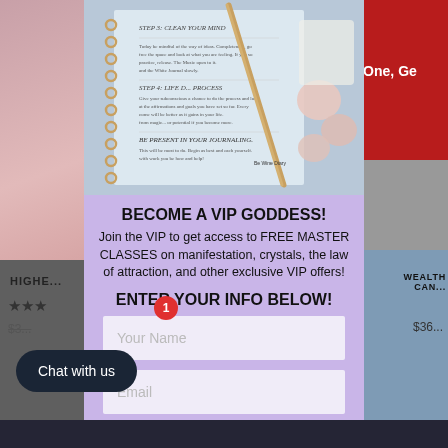[Figure (screenshot): Website screenshot showing a popup modal on a product page with a VIP Goddess signup form. Background shows product images. Modal contains notebook/journal photo, promotional text, and input fields.]
BECOME A VIP GODDESS!
Join the VIP to get access to FREE MASTER CLASSES on manifestation, crystals, the law of attraction, and other exclusive VIP offers!
ENTER YOUR INFO BELOW!
Your Name
Email
Text Number (VIP offers!)
Chat with us